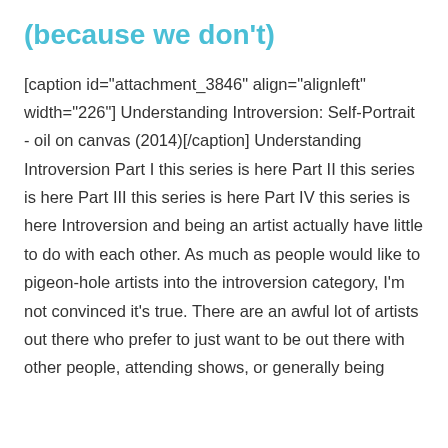(because we don't)
[caption id="attachment_3846" align="alignleft" width="226"] Understanding Introversion: Self-Portrait - oil on canvas (2014)[/caption] Understanding Introversion Part I this series is here Part II this series is here Part III this series is here Part IV this series is here Introversion and being an artist actually have little to do with each other. As much as people would like to pigeon-hole artists into the introversion category, I'm not convinced it's true. There are an awful lot of artists out there who prefer to just want to be out there with other people, attending shows, or generally being